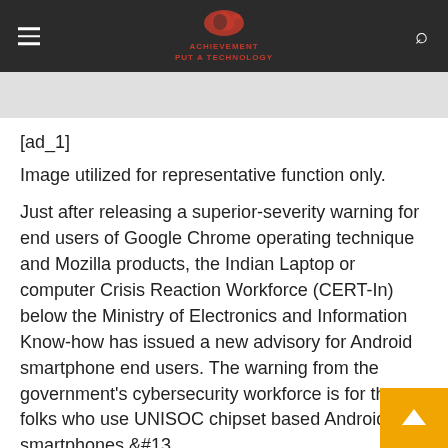ACHIEVEMENT PUT A TECHNOLOGY
[ad_1]
Image utilized for representative function only.
Just after releasing a superior-severity warning for end users of Google Chrome operating technique and Mozilla products, the Indian Laptop or computer Crisis Reaction Workforce (CERT-In) below the Ministry of Electronics and Information Know-how has issued a new advisory for Android smartphone end users. The warning from the government's cybersecurity workforce is for the folks who use UNISOC chipset based Android smartphones.&#13